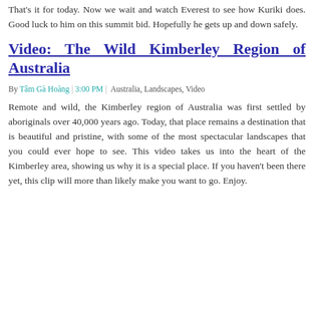That's it for today. Now we wait and watch Everest to see how Kuriki does. Good luck to him on this summit bid. Hopefully he gets up and down safely.
Video: The Wild Kimberley Region of Australia
By Tâm Gà Hoàng | 3:00 PM | Australia, Landscapes, Video
Remote and wild, the Kimberley region of Australia was first settled by aboriginals over 40,000 years ago. Today, that place remains a destination that is beautiful and pristine, with some of the most spectacular landscapes that you could ever hope to see. This video takes us into the heart of the Kimberley area, showing us why it is a special place. If you haven't been there yet, this clip will more than likely make you want to go. Enjoy.